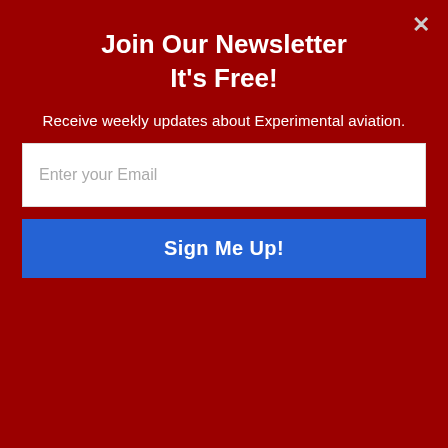Join Our Newsletter
It's Free!
Receive weekly updates about Experimental aviation.
[Figure (screenshot): Email input field with placeholder 'Enter your Email']
[Figure (screenshot): Blue 'Sign Me Up!' button]
[Figure (logo): POWERED BY SUMO logo bar]
Precision fuel inje... and a hollow crank for a constant-speed prop. They were set up with mid-compression pistons.
pressurized oil flow to thrust faces, provisions for cooling nozzles, and reinforced web area between cylinders. The company says they observed where